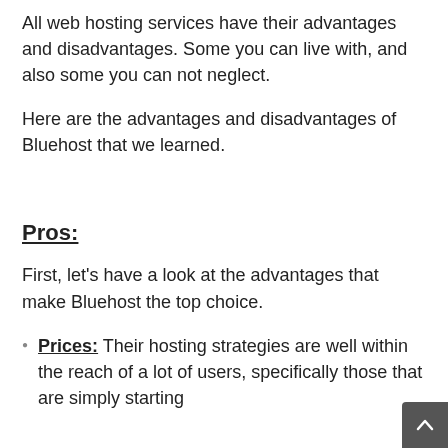All web hosting services have their advantages and disadvantages. Some you can live with, and also some you can not neglect.
Here are the advantages and disadvantages of Bluehost that we learned.
Pros:
First, let's have a look at the advantages that make Bluehost the top choice.
Prices: Their hosting strategies are well within the reach of a lot of users, specifically those that are simply starting